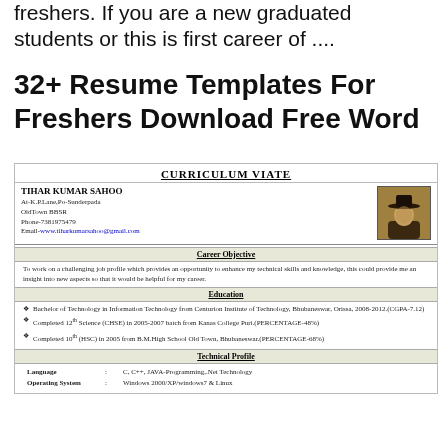freshers. If you are a new graduated students or this is first career of ....
32+ Resume Templates For Freshers Download Free Word
[Figure (screenshot): A sample resume/CV for Tihar Kumar Sahoo showing curriculum vitae sections including career objective, education, and technical profile with a photo placeholder]
CURRICULUM VIATE
TIHAR KUMAR SAHOO
At-K.P.Lane,Po-Sunderpada
OldTown BBSR
Phone-7381975479
Email-www.tiharkumarsahoo@gmail.com
Career Objective
To work on a challenging job profile which provides an opportunity to enhance my technical skills and knowledge, this could provide me an insight into new aspects so that it would be helpful for my career.
Education
Bachelor of Technology in Information Technology from Centurion Institute of Technology, Bhubaneswar, Orissa, 2008-2012.(CGPA-7.12)
Completed 12th Science (CHSE) in 2005-2007 batch from Kanas College Puri.(PERCENTAGE-48%)
Completed 10th (HSC) in 2005 from B.M.High School Old Town, Bhubaneswar.(PERCENTAGE-68%)
Technical Profile
| Language | : | C, C++, JAVA-Programming,.Net Technology |
| --- | --- | --- |
| Operating System | : | Windows 2000/XP/windows7 & Linux |